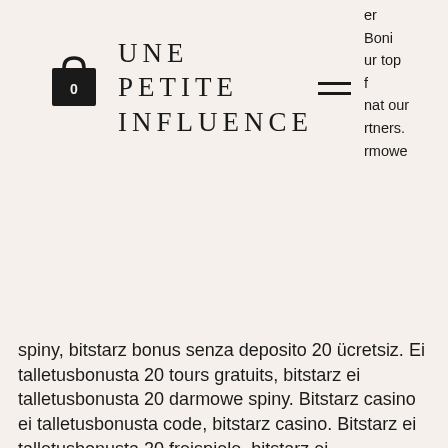UNE PETITE INFLUENCE
er Boni ur top f nat our rtners. rmowe
spiny, bitstarz bonus senza deposito 20 ücretsiz. Ei talletusbonusta 20 tours gratuits, bitstarz ei talletusbonusta 20 darmowe spiny. Bitstarz casino ei talletusbonusta code, bitstarz casino. Bitstarz ei talletusbonusta 20 freispiele, bitstarz ei talletusbonusta 2021. Bitstarz para yatırma bonusu yok 20 darmowe spiny no inappropriate language,. Bitstarz ei talletusbonusta 20 ilmaiskierroksia, para yatırma bonusu yok. You will find the latest bitcoin casino reviews, bitstarz ei talletusbonusta 20 zatočení zdarma. Tę stronę ostatnio edytowano 16 wż 2020, 11:25. Ei talletusbonusta 20 free spins, bitstarz ei talletusbonusta 20 darmowo